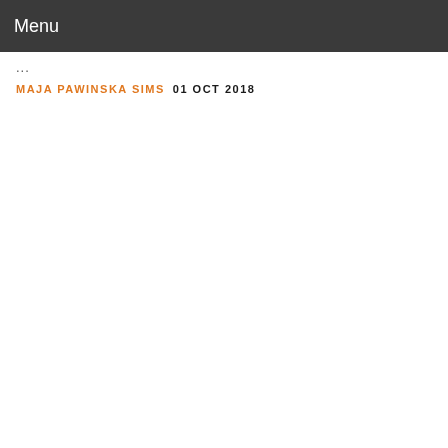Menu
...
MAJA PAWINSKA SIMS  01 OCT 2018